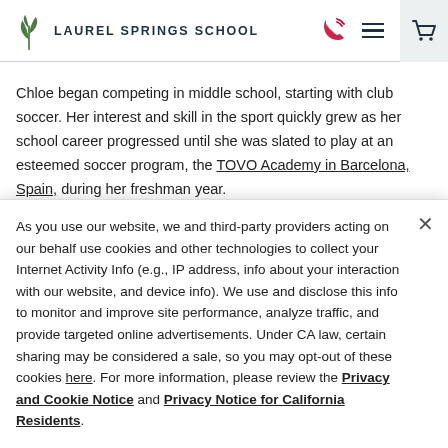LAUREL SPRINGS SCHOOL
Chloe began competing in middle school, starting with club soccer. Her interest and skill in the sport quickly grew as her school career progressed until she was slated to play at an esteemed soccer program, the TOVO Academy in Barcelona, Spain, during her freshman year.
As you use our website, we and third-party providers acting on our behalf use cookies and other technologies to collect your Internet Activity Info (e.g., IP address, info about your interaction with our website, and device info). We use and disclose this info to monitor and improve site performance, analyze traffic, and provide targeted online advertisements. Under CA law, certain sharing may be considered a sale, so you may opt-out of these cookies here. For more information, please review the Privacy and Cookie Notice and Privacy Notice for California Residents.